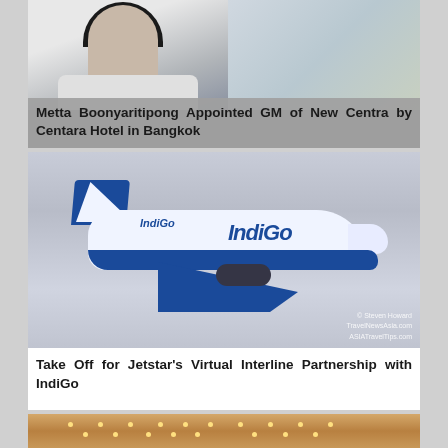[Figure (photo): Portrait photo of Metta Boonyaritipong in a white blazer with dark blouse, with decorative background on the right side.]
Metta Boonyaritipong Appointed GM of New Centra by Centara Hotel in Bangkok
[Figure (photo): An IndiGo airline aircraft (white and blue livery) in flight against a light blue-grey sky. Photo credit: © Steven Howard TravelNewsAsia.com ASIATravelTips.com]
Take Off for Jetstar's Virtual Interline Partnership with IndiGo
[Figure (photo): Partial view of a hotel interior with gold/amber chandelier lights visible at the top of the frame.]